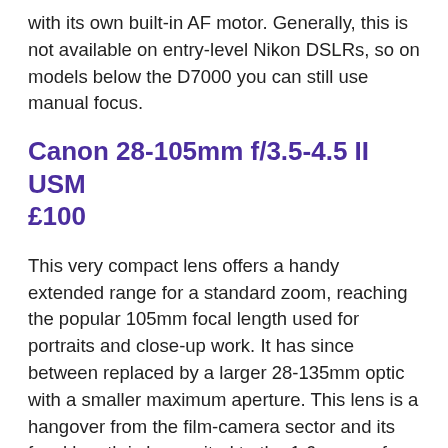with its own built-in AF motor. Generally, this is not available on entry-level Nikon DSLRs, so on models below the D7000 you can still use manual focus.
Canon 28-105mm f/3.5-4.5 II USM £100
This very compact lens offers a handy extended range for a standard zoom, reaching the popular 105mm focal length used for portraits and close-up work. It has since between replaced by a larger 28-135mm optic with a smaller maximum aperture. This lens is a hangover from the film-camera sector and its focal length is less suited to the 1.6x crop of Canon APS-C sensors, equating to 45-168mm. Full-frame users are more likely to be drawn to the 24-105mm L-series model, but this lens is a fraction of the cost and, while it